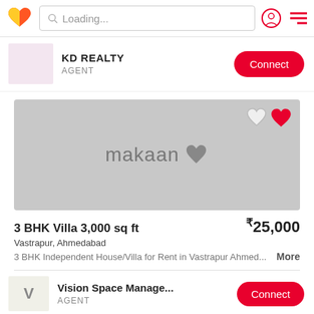Loading...
KD REALTY
AGENT
[Figure (photo): Makaan.com property placeholder image with heart icons]
3 BHK Villa 3,000 sq ft
Vastrapur, Ahmedabad
₹25,000
3 BHK Independent House/Villa for Rent in Vastrapur Ahmed... More
Vision Space Manage...
AGENT